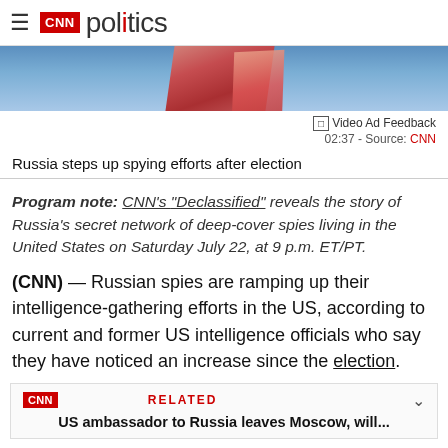CNN politics
[Figure (photo): Partial view of a person in front of a blue sky, with a red flag-like fabric visible]
Video Ad Feedback
02:37 - Source: CNN
Russia steps up spying efforts after election
Program note: CNN's "Declassified" reveals the story of Russia's secret network of deep-cover spies living in the United States on Saturday July 22, at 9 p.m. ET/PT.
(CNN) — Russian spies are ramping up their intelligence-gathering efforts in the US, according to current and former US intelligence officials who say they have noticed an increase since the election.
CNN RELATED
US ambassador to Russia leaves Moscow, will...